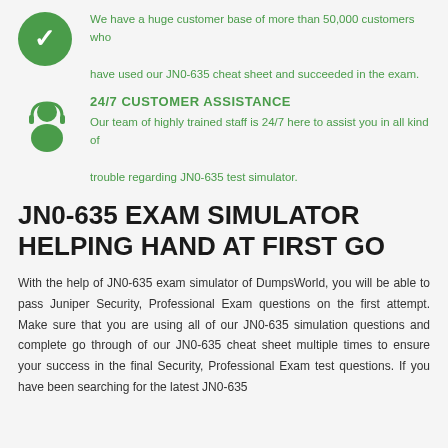We have a huge customer base of more than 50,000 customers who have used our JN0-635 cheat sheet and succeeded in the exam.
24/7 CUSTOMER ASSISTANCE
Our team of highly trained staff is 24/7 here to assist you in all kind of trouble regarding JN0-635 test simulator.
JN0-635 EXAM SIMULATOR HELPING HAND AT FIRST GO
With the help of JN0-635 exam simulator of DumpsWorld, you will be able to pass Juniper Security, Professional Exam questions on the first attempt. Make sure that you are using all of our JN0-635 simulation questions and complete go through of our JN0-635 cheat sheet multiple times to ensure your success in the final Security, Professional Exam test questions. If you have been searching for the latest JN0-635